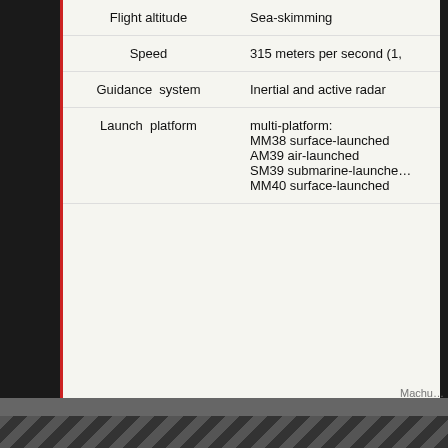| Property | Value |
| --- | --- |
| Flight altitude | Sea-skimming |
| Speed | 315 meters per second (1,… |
| Guidance system | Inertial and active radar |
| Launch platform | multi-platform:
MM38 surface-launched
AM39 air-launched
SM39 submarine-launched
MM40 surface-launched |
Malvinas War
In 1982, during the Malvinas War, the Exocet became noted world… version of Exocet caused irreparable damage and disabled the Roy… Atlantic Conveyor was struck by two Exocet anti-ship missiles on… Seguí, a retired US Sumner class, and transferred to an improvised… Glamorgan on 12 June.
While the Argentineans claimed that an Exocet-armed Super Etend… The Exocet that struck HMS Sheffield impacted on the second dec… near the forward engine room, creating a hole in the hull roughly 1… the initial impact of the missile destroyed the ship's electrical gene… operating and dooming the ship to be consumed by the fire. The lo…
Machu…